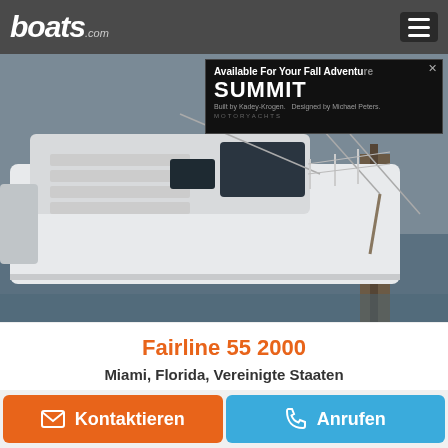boats.com
[Figure (photo): Boat listing photo showing a Fairline 55 yacht docked at a marina, white hull with rigging visible. An advertisement overlay for Summit Motoryachts reads 'Available For Your Fall Adventure — Built by Kadey-Krogen. Designed by Michael Peters.']
Fairline 55 2000
Miami, Florida, Vereinigte Staaten
€428.414
Kontaktieren
Anrufen